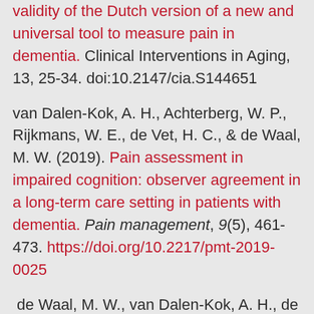validity of the Dutch version of a new and universal tool to measure pain in dementia. Clinical Interventions in Aging, 13, 25-34. doi:10.2147/cia.S144651
van Dalen-Kok, A. H., Achterberg, W. P., Rijkmans, W. E., de Vet, H. C., & de Waal, M. W. (2019). Pain assessment in impaired cognition: observer agreement in a long-term care setting in patients with dementia. Pain management, 9(5), 461-473. https://doi.org/10.2217/pmt-2019-0025
de Waal, M. W., van Dalen-Kok, A. H., de ...